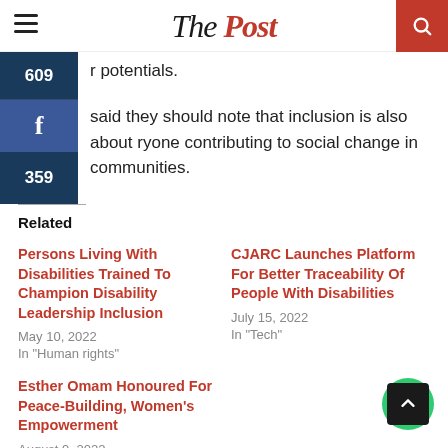The Post
r potentials.
said they should note that inclusion is also about ryone contributing to social change in communities.
Related
Persons Living With Disabilities Trained To Champion Disability Leadership Inclusion
May 10, 2022
In "Human rights"
CJARC Launches Platform For Better Traceability Of People With Disabilities
July 15, 2022
In "Tech"
Esther Omam Honoured For Peace-Building, Women's Empowerment
August 9, 2022
In "Breaking News"